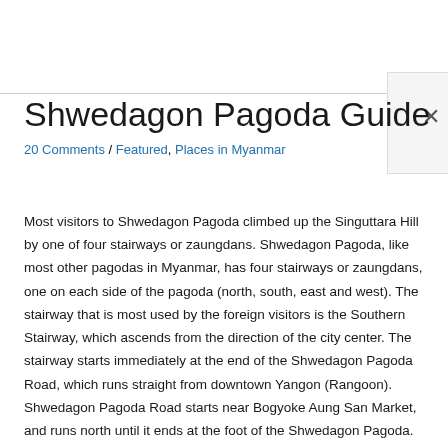Shwedagon Pagoda Guide
20 Comments / Featured, Places in Myanmar
Most visitors to Shwedagon Pagoda climbed up the Singuttara Hill by one of four stairways or zaungdans. Shwedagon Pagoda, like most other pagodas in Myanmar, has four stairways or zaungdans, one on each side of the pagoda (north, south, east and west). The stairway that is most used by the foreign visitors is the Southern Stairway, which ascends from the direction of the city center. The stairway starts immediately at the end of the Shwedagon Pagoda Road, which runs straight from downtown Yangon (Rangoon). Shwedagon Pagoda Road starts near Bogyoke Aung San Market, and runs north until it ends at the foot of the Shwedagon Pagoda. From here starts the Southern Stairway.